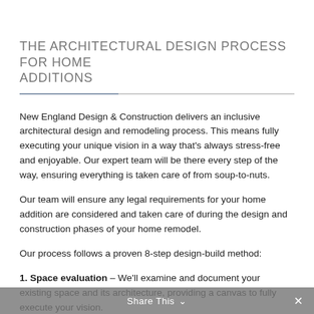THE ARCHITECTURAL DESIGN PROCESS FOR HOME ADDITIONS
New England Design & Construction delivers an inclusive architectural design and remodeling process. This means fully executing your unique vision in a way that's always stress-free and enjoyable. Our expert team will be there every step of the way, ensuring everything is taken care of from soup-to-nuts.
Our team will ensure any legal requirements for your home addition are considered and taken care of during the design and construction phases of your home remodel.
Our process follows a proven 8-step design-build method:
1. Space evaluation – We'll examine and document your existing space and its architecture, providing a canvas to fully execute your vision.